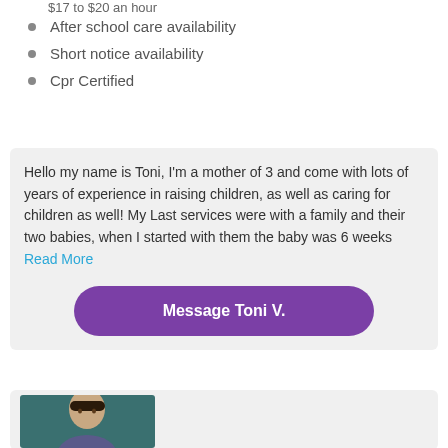$17 to $20 an hour
After school care availability
Short notice availability
Cpr Certified
Hello my name is Toni, I'm a mother of 3 and come with lots of years of experience in raising children, as well as caring for children as well! My Last services were with a family and their two babies, when I started with them the baby was 6 weeks Read More
Message Toni V.
[Figure (photo): Profile photo of a person with short dark hair against a dark teal background]